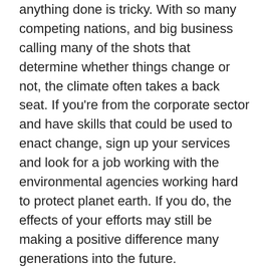anything done is tricky. With so many competing nations, and big business calling many of the shots that determine whether things change or not, the climate often takes a back seat. If you're from the corporate sector and have skills that could be used to enact change, sign up your services and look for a job working with the environmental agencies working hard to protect planet earth. If you do, the effects of your efforts may still be making a positive difference many generations into the future.
Bringing about social change
It's a complex world, and with so many things taking place it's sometimes the case that the important social changes that need to take place often pass by unnoticed. Not so if it's your job to campaign for the changes that need to happen. You'll be campaigning to wrong injustices and make the world an equal place for all. With inequality on the rise, this is another pressing issue that needs to be